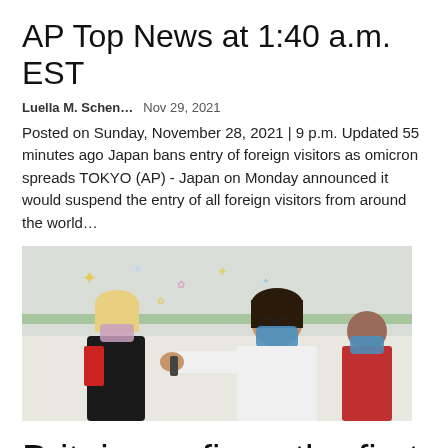AP Top News at 1:40 a.m. EST
Luella M. Schen…   Nov 29, 2021
Posted on Sunday, November 28, 2021 | 9 p.m. Updated 55 minutes ago Japan bans entry of foreign visitors as omicron spreads TOKYO (AP) - Japan on Monday announced it would suspend the entry of all foreign visitors from around the world…
[Figure (photo): A healthcare worker in a blue mask and white coat administers a vaccine to a young blonde girl wearing a mask, in a colorful room with children's decorations on the wall.]
Britain confirms the first two cases of new variant of Covid-